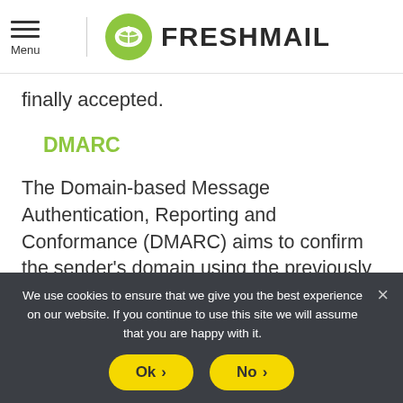[Figure (logo): FreshMail logo with green circle icon and hamburger menu with Menu label]
finally accepted.
DMARC
The Domain-based Message Authentication, Reporting and Conformance (DMARC) aims to confirm the sender's domain using the previously discussed security measures (i.e.
We use cookies to ensure that we give you the best experience on our website. If you continue to use this site we will assume that you are happy with it.